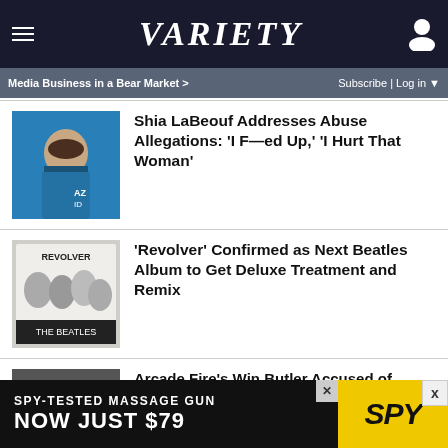VARIETY
Media Business in a Bear Market >   Subscribe | Log in ▼
Shia LaBeouf Addresses Abuse Allegations: 'I F—ed Up,' 'I Hurt That Woman'
'Revolver' Confirmed as Next Beatles Album to Get Deluxe Treatment and Remix
Arcade Fire's Win Butler Accused of Sexual Misconduct by Four People, Singer Admits to Encounters But Disputes Accounts
Olivia's Wilde Ride: Directing 'Don't Worry
SPY-TESTED MASSAGE GUN NOW JUST $79   SPY